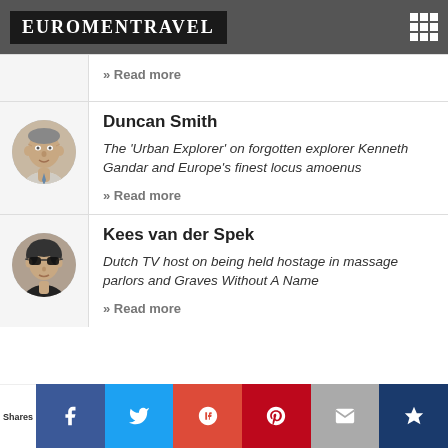EuroMenTravel
» Read more
Duncan Smith
The 'Urban Explorer' on forgotten explorer Kenneth Gandar and Europe's finest locus amoenus
» Read more
Kees van der Spek
Dutch TV host on being held hostage in massage parlors and Graves Without A Name
» Read more
Shares | Facebook | Twitter | Google+ | Pinterest | Email | Crown